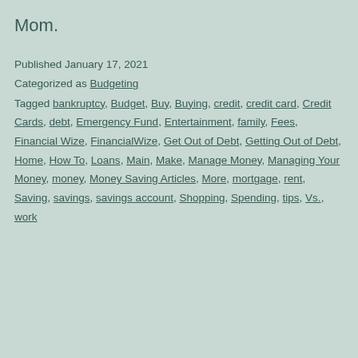Mom.
Published January 17, 2021
Categorized as Budgeting
Tagged bankruptcy, Budget, Buy, Buying, credit, credit card, Credit Cards, debt, Emergency Fund, Entertainment, family, Fees, Financial Wize, FinancialWize, Get Out of Debt, Getting Out of Debt, Home, How To, Loans, Main, Make, Manage Money, Managing Your Money, money, Money Saving Articles, More, mortgage, rent, Saving, savings, savings account, Shopping, Spending, tips, Vs., work